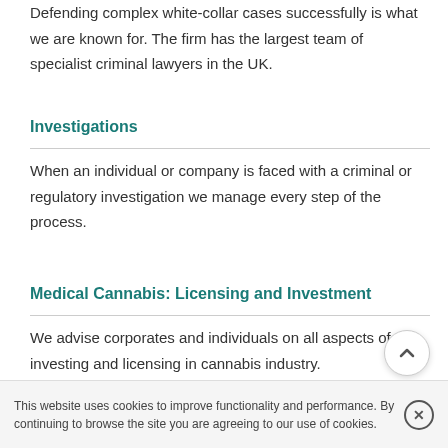Defending complex white-collar cases successfully is what we are known for. The firm has the largest team of specialist criminal lawyers in the UK.
Investigations
When an individual or company is faced with a criminal or regulatory investigation we manage every step of the process.
Medical Cannabis: Licensing and Investment
We advise corporates and individuals on all aspects of investing and licensing in cannabis industry.
This website uses cookies to improve functionality and performance. By continuing to browse the site you are agreeing to our use of cookies.